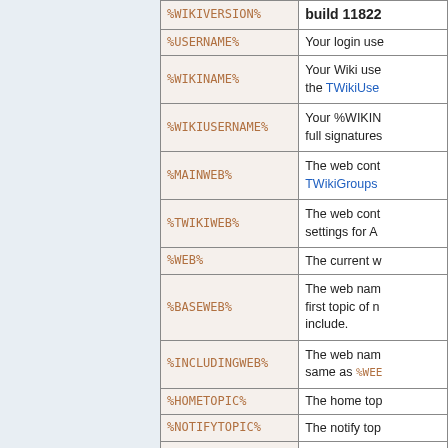| Variable | Description |
| --- | --- |
| %WIKIVERSION% | build 11822 |
| %USERNAME% | Your login use... |
| %WIKINAME% | Your Wiki use... the TWikiUse... |
| %WIKIUSERNAME% | Your %WIKIN... full signatures... |
| %MAINWEB% | The web cont... TWikiGroups... |
| %TWIKIWEB% | The web cont... settings for A... |
| %WEB% | The current w... |
| %BASEWEB% | The web nam... first topic of n... include. |
| %INCLUDINGWEB% | The web nam... same as %WEB... |
| %HOMETOPIC% | The home top... |
| %NOTIFYTOPIC% | The notify top... |
| %WIKIUSERSTOPIC% | The index top... |
| %WIKIPREFSTOPIC% | The site-wide... |